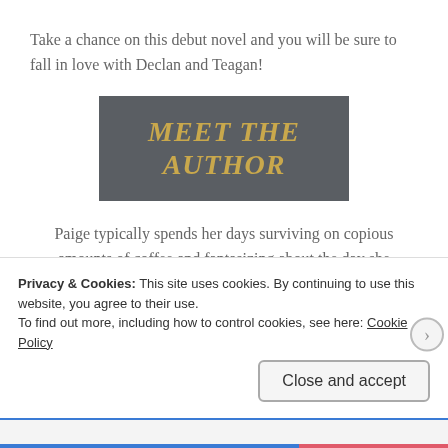Take a chance on this debut novel and you will be sure to fall in love with Declan and Teagan!
[Figure (other): Dark gray banner image with gold italic text reading 'MEET THE AUTHOR']
Paige typically spends her days surviving on copious amounts of coffee and fantasizing about the day she becomes a full-time writer. Because even Batman needs a day job, her morning hours are spent buying
Privacy & Cookies: This site uses cookies. By continuing to use this website, you agree to their use.
To find out more, including how to control cookies, see here: Cookie Policy
Close and accept